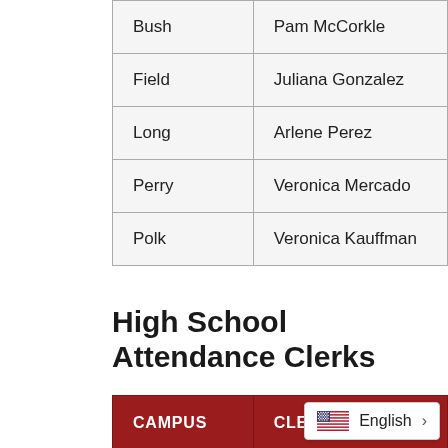| Bush | Pam McCorkle |
| Field | Juliana Gonzalez |
| Long | Arlene Perez |
| Perry | Veronica Mercado |
| Polk | Veronica Kauffman |
High School Attendance Clerks
| CAMPUS | CLERK |
| --- | --- |